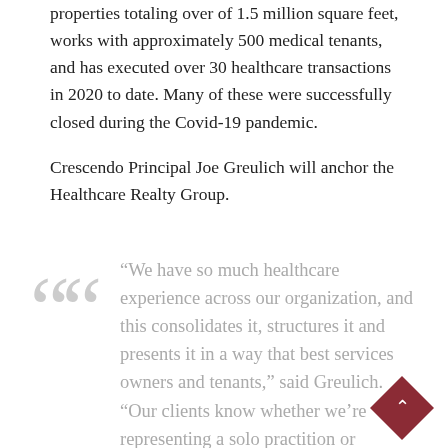properties totaling over of 1.5 million square feet, works with approximately 500 medical tenants, and has executed over 30 healthcare transactions in 2020 to date. Many of these were successfully closed during the Covid-19 pandemic.
Crescendo Principal Joe Greulich will anchor the Healthcare Realty Group.
“We have so much healthcare experience across our organization, and this consolidates it, structures it and presents it in a way that best services owners and tenants,” said Greulich. “Our clients know whether we’re representing a solo practitioner or managing a high performing